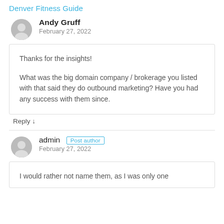Denver Fitness Guide
Andy Gruff
February 27, 2022
Thanks for the insights!

What was the big domain company / brokerage you listed with that said they do outbound marketing? Have you had any success with them since.
Reply ↓
admin  Post author
February 27, 2022
I would rather not name them, as I was only one